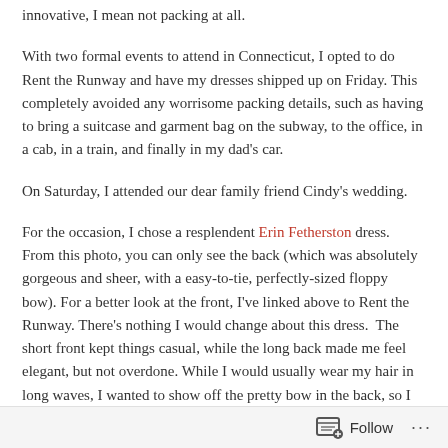innovative, I mean not packing at all.
With two formal events to attend in Connecticut, I opted to do Rent the Runway and have my dresses shipped up on Friday. This completely avoided any worrisome packing details, such as having to bring a suitcase and garment bag on the subway, to the office, in a cab, in a train, and finally in my dad's car.
On Saturday, I attended our dear family friend Cindy's wedding.
For the occasion, I chose a resplendent Erin Fetherston dress. From this photo, you can only see the back (which was absolutely gorgeous and sheer, with a easy-to-tie, perfectly-sized floppy bow). For a better look at the front, I've linked above to Rent the Runway. There's nothing I would change about this dress.  The short front kept things casual, while the long back made me feel elegant, but not overdone. While I would usually wear my hair in long waves, I wanted to show off the pretty bow in the back, so I pulled
Follow ...